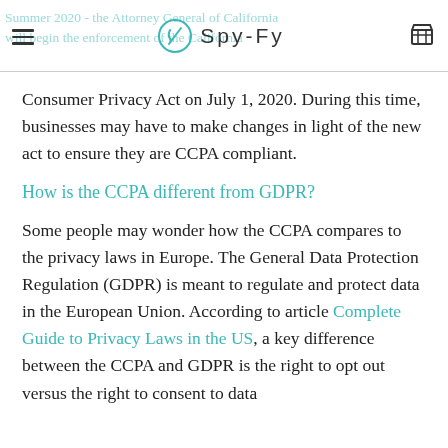Summer 2020 - the Attorney General of California will begin the enforcement of the California | Spy-Fy
Consumer Privacy Act on July 1, 2020. During this time, businesses may have to make changes in light of the new act to ensure they are CCPA compliant.
How is the CCPA different from GDPR?
Some people may wonder how the CCPA compares to the privacy laws in Europe. The General Data Protection Regulation (GDPR) is meant to regulate and protect data in the European Union. According to article Complete Guide to Privacy Laws in the US, a key difference between the CCPA and GDPR is the right to opt out versus the right to consent to data